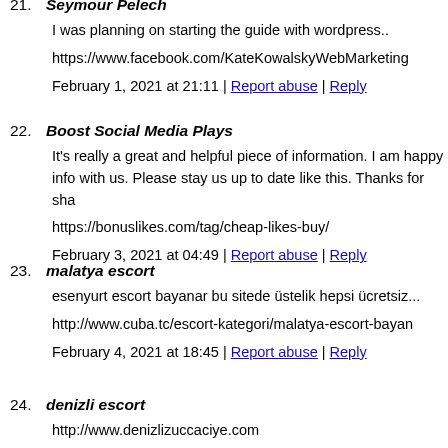21. Seymour Pelech
I was planning on starting the guide with wordpress..
https://www.facebook.com/KateKowalskyWebMarketing
February 1, 2021 at 21:11 | Report abuse | Reply
22. Boost Social Media Plays
It's really a great and helpful piece of information. I am happy info with us. Please stay us up to date like this. Thanks for sha
https://bonuslikes.com/tag/cheap-likes-buy/
February 3, 2021 at 04:49 | Report abuse | Reply
23. malatya escort
esenyurt escort bayanar bu sitede üstelik hepsi ücretsiz...
http://www.cuba.tc/escort-kategori/malatya-escort-bayan
February 4, 2021 at 18:45 | Report abuse | Reply
24. denizli escort
http://www.denizlizuccaciye.com